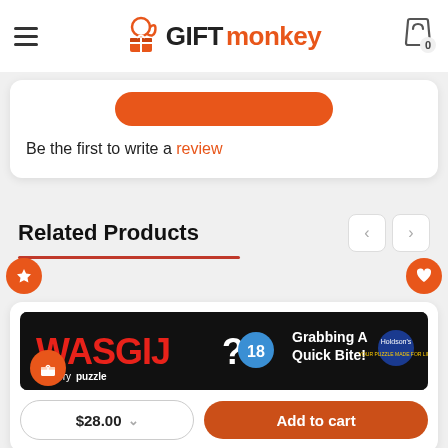GIFTmonkey — navigation header with hamburger menu and cart (0 items)
Be the first to write a review
Related Products
[Figure (screenshot): Wasgij Mystery Puzzle #18 Grabbing A Quick Bite! product box image by Holdson]
$28.00
Add to cart